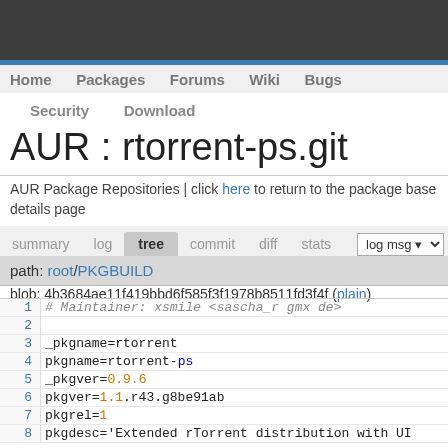Home  Packages  Forums  Wiki  Bugs
Security  Download
AUR : rtorrent-ps.git
AUR Package Repositories | click here to return to the package base details page
summary  log  tree  commit  diff  stats  log msg
path: root/PKGBUILD
blob: 4b3684ae11f419bbd6f585f3f1978b8511fd3f4f (plain)
1  # Maintainer: xsmile <sascha_r gmx de>
2
3  _pkgname=rtorrent
4  pkgname=rtorrent-ps
5  _pkgver=0.9.6
6  pkgver=1.1.r43.g8be91ab
7  pkgrel=1
8  pkgdesc='Extended rTorrent distribution with UI